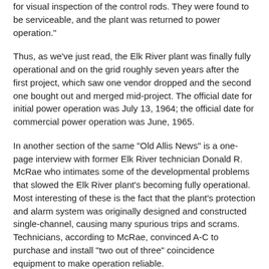for visual inspection of the control rods. They were found to be serviceable, and the plant was returned to power operation."
Thus, as we've just read, the Elk River plant was finally fully operational and on the grid roughly seven years after the first project, which saw one vendor dropped and the second one bought out and merged mid-project. The official date for initial power operation was July 13, 1964; the official date for commercial power operation was June, 1965.
In another section of the same "Old Allis News" is a one-page interview with former Elk River technician Donald R. McRae who intimates some of the developmental problems that slowed the Elk River plant's becoming fully operational. Most interesting of these is the fact that the plant's protection and alarm system was originally designed and constructed single-channel, causing many spurious trips and scrams. Technicians, according to McRae, convinced A-C to purchase and install "two out of three" coincidence equipment to make operation reliable.